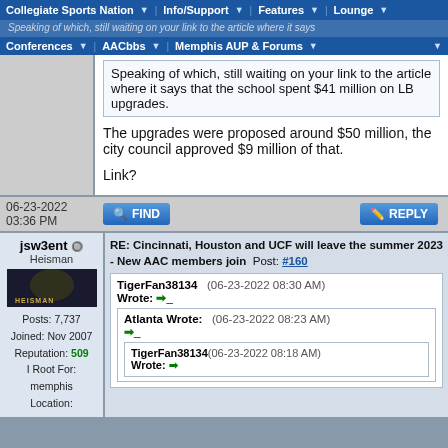Collegiate Sports Nation | Info/Support | Features | Lounge | Conferences | AACbbs | Memphis AUP & Forums
Speaking of which, still waiting on your link to the article where it says that the school spent $41 million on LB upgrades.
The upgrades were proposed around $50 million, the city council approved $9 million of that.
Link?
06-23-2022 03:36 PM
jsw3ent
Heisman
Posts: 7,737
Joined: Nov 2007
Reputation: 509
I Root For: memphis
Location:
RE: Cincinnati, Houston and UCF will leave the summer 2023 - New AAC members join  Post: #160
TigerFan38134  (06-23-2022 08:30 AM) Wrote:
Atlanta Wrote:  (06-23-2022 08:23 AM)
TigerFan38134 (06-23-2022 08:18 AM) Wrote: